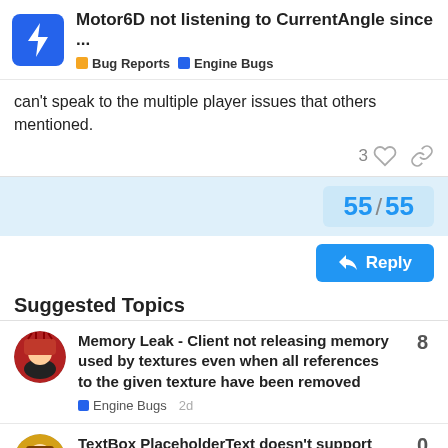Motor6D not listening to CurrentAngle since ...
can't speak to the multiple player issues that others mentioned.
55 / 55
Suggested Topics
Memory Leak - Client not releasing memory used by textures even when all references to the given texture have been removed
Engine Bugs  2d  8
TextBox PlaceholderText doesn't support RichText  0